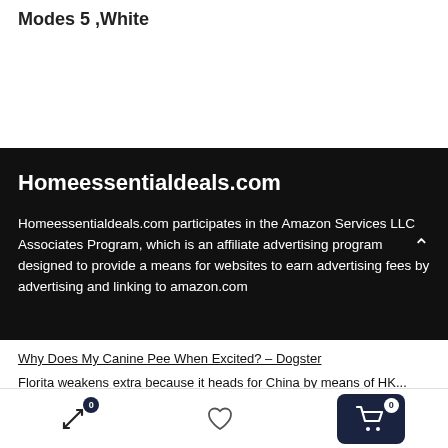Modes 5 ,White
Homeessentialdeals.com
Homeessentialdeals.com participates in the Amazon Services LLC Associates Program, which is an affiliate advertising program designed to provide a means for websites to earn advertising fees by advertising and linking to amazon.com
Why Does My Canine Pee When Excited? – Dogster
Florita weakens extra because it heads for China by means of HK...